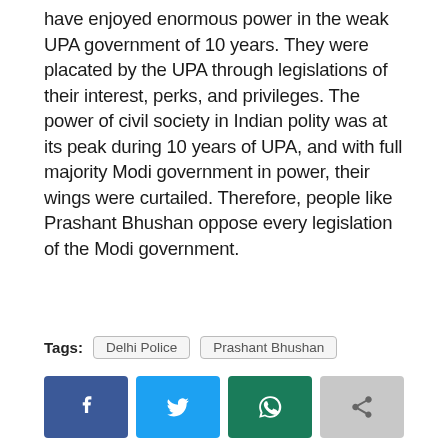have enjoyed enormous power in the weak UPA government of 10 years. They were placated by the UPA through legislations of their interest, perks, and privileges. The power of civil society in Indian polity was at its peak during 10 years of UPA, and with full majority Modi government in power, their wings were curtailed. Therefore, people like Prashant Bhushan oppose every legislation of the Modi government.
Tags: Delhi Police  Prashant Bhushan
[Figure (other): Social media share buttons: Facebook, Twitter, WhatsApp, and a generic share button]